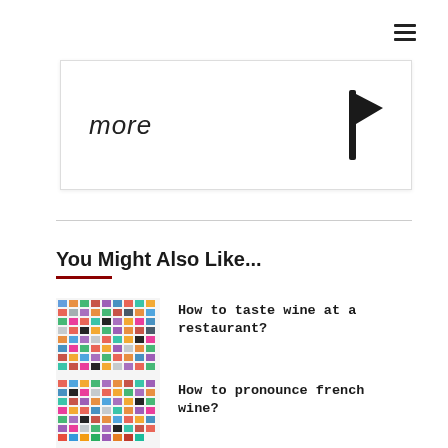[Figure (screenshot): Hamburger menu icon (three horizontal lines) in the top right corner]
[Figure (illustration): Card with italic text 'more' on the left and a black flag icon on the right]
You Might Also Like...
[Figure (photo): Thumbnail image of emoji grid for 'How to taste wine at a restaurant?' article]
How to taste wine at a restaurant?
[Figure (photo): Thumbnail image of emoji grid for 'How to pronounce french wine?' article]
How to pronounce french wine?
[Figure (photo): Partial thumbnail image visible at bottom of page]